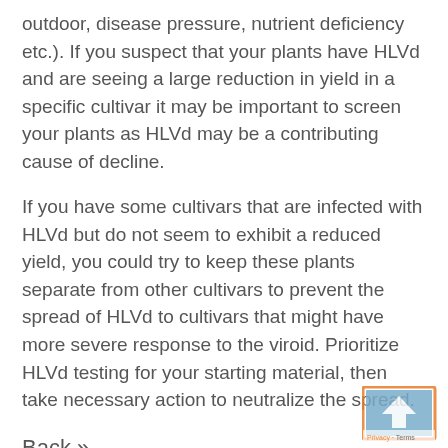outdoor, disease pressure, nutrient deficiency etc.). If you suspect that your plants have HLVd and are seeing a large reduction in yield in a specific cultivar it may be important to screen your plants as HLVd may be a contributing cause of decline.
If you have some cultivars that are infected with HLVd but do not seem to exhibit a reduced yield, you could try to keep these plants separate from other cultivars to prevent the spread of HLVd to cultivars that might have more severe response to the viroid. Prioritize HLVd testing for your starting material, then take necessary action to neutralize the spread.
Back »
[Figure (logo): Small square logo/watermark in bottom right corner with an orange border and blue arrow/share icon]